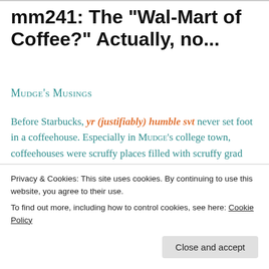mm241: The "Wal-Mart of Coffee?" Actually, no...
Mudge's Musings
Before Starbucks, yr (justifiably) humble svt never set foot in a coffeehouse. Especially in Mudge's college town, coffeehouses were scruffy places filled with scruffy grad student types, and not tremendously inviting as a result.
Privacy & Cookies: This site uses cookies. By continuing to use this website, you agree to their use.
To find out more, including how to control cookies, see here: Cookie Policy